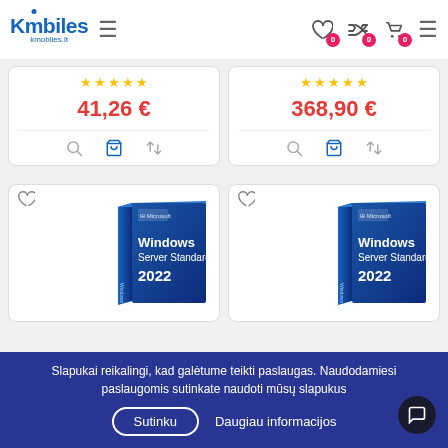Kmobiles kmobiles.lt
41,26 €
368,90 €
[Figure (screenshot): Two Windows Server Standard 2022 product box images shown in bottom product cards]
Slapukai reikalingi, kad galėtume teikti paslaugas. Naudodamiesi paslaugomis sutinkate naudoti mūsų slapukus
Sutinku
Daugiau informacijos